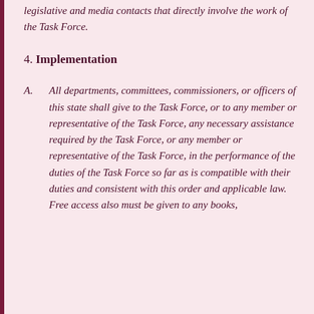legislative and media contacts that directly involve the work of the Task Force.
4. Implementation
A. All departments, committees, commissioners, or officers of this state shall give to the Task Force, or to any member or representative of the Task Force, any necessary assistance required by the Task Force, or any member or representative of the Task Force, in the performance of the duties of the Task Force so far as is compatible with their duties and consistent with this order and applicable law. Free access also must be given to any books,